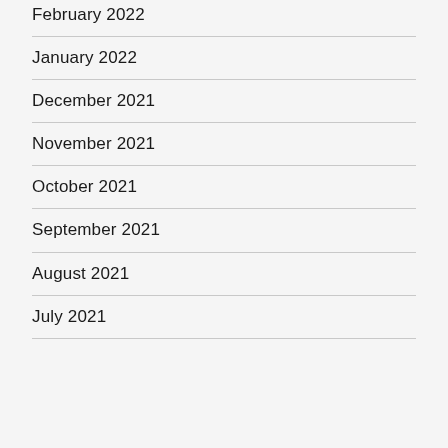February 2022
January 2022
December 2021
November 2021
October 2021
September 2021
August 2021
July 2021